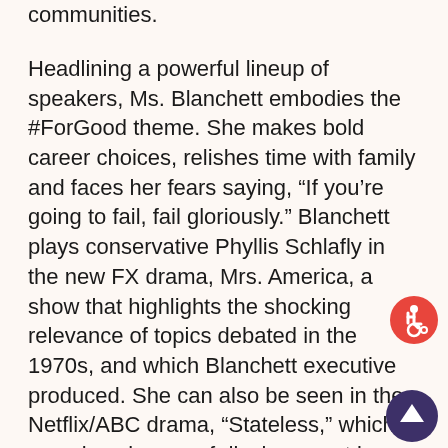communities.
Headlining a powerful lineup of speakers, Ms. Blanchett embodies the #ForGood theme. She makes bold career choices, relishes time with family and faces her fears saying, “If you’re going to fail, fail gloriously.” Blanchett plays conservative Phyllis Schlafly in the new FX drama, Mrs. America, a show that highlights the shocking relevance of topics debated in the 1970s, and which Blanchett executive produced. She can also be seen in the Netflix/ABC drama, “Stateless,” which examines issues of displacement in a dysfunctional immigration system, a show which Blanchett co-created and produced. Her incredible body of work and recognition
[Figure (illustration): Circular red accessibility icon with white wheelchair user symbol]
[Figure (illustration): Dark purple circular scroll-up button with white upward arrow]